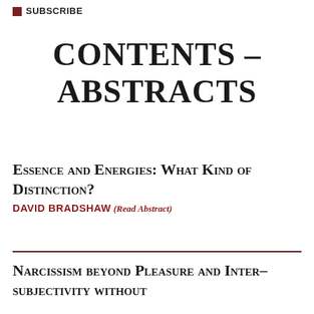subscribe
CONTENTS – ABSTRACTS
Essence and Energies: What Kind of Distinction?
DAVID BRADSHAW (READ ABSTRACT)
Narcissism beyond Pleasure and Inter-subjectivity without